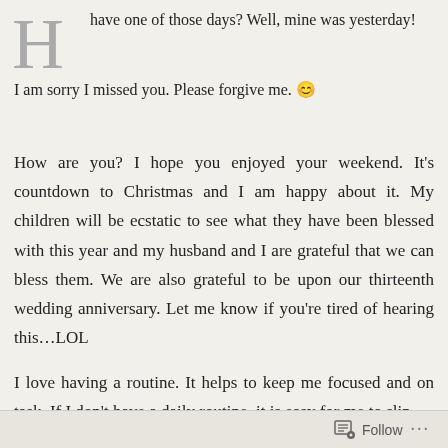have one of those days? Well, mine was yesterday! I am sorry I missed you. Please forgive me. 😊
How are you? I hope you enjoyed your weekend. It's countdown to Christmas and I am happy about it. My children will be ecstatic to see what they have been blessed with this year and my husband and I are grateful that we can bless them. We are also grateful to be upon our thirteenth wedding anniversary. Let me know if you're tired of hearing this…LOL
I love having a routine. It helps to keep me focused and on task. If I don't have a daily routine, it is easy for me to slip
Follow ...